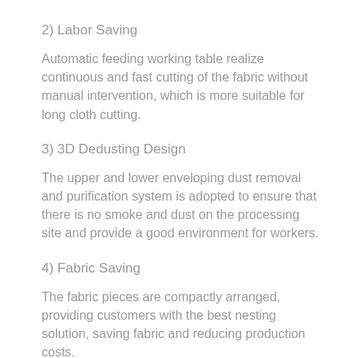2) Labor Saving
Automatic feeding working table realize continuous and fast cutting of the fabric without manual intervention, which is more suitable for long cloth cutting.
3) 3D Dedusting Design
The upper and lower enveloping dust removal and purification system is adopted to ensure that there is no smoke and dust on the processing site and provide a good environment for workers.
4) Fabric Saving
The fabric pieces are compactly arranged, providing customers with the best nesting solution, saving fabric and reducing production costs.